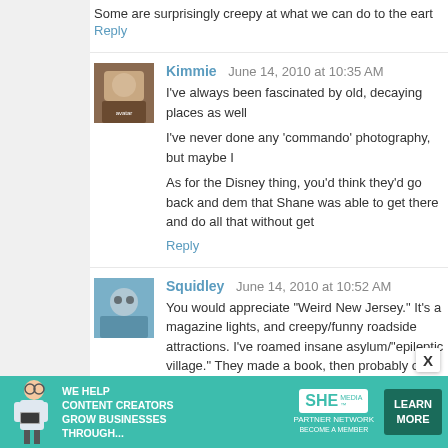Some are surprisingly creepy at what we can do to the eart
Reply
Kimmie  June 14, 2010 at 10:35 AM
I've always been fascinated by old, decaying places as well
I've never done any 'commando' photography, but maybe I
As for the Disney thing, you'd think they'd go back and dem that Shane was able to get there and do all that without get
Reply
Squidley  June 14, 2010 at 10:52 AM
You would appreciate "Weird New Jersey." It's a magazine lights, and creepy/funny roadside attractions. I've roamed insane asylum/"epileptic village." They made a book, then probably one for Florida. Totally awesome. http://www.weir
Reply
[Figure (screenshot): SHE Media advertisement banner - WE HELP CONTENT CREATORS GROW BUSINESSES THROUGH... with LEARN MORE button]